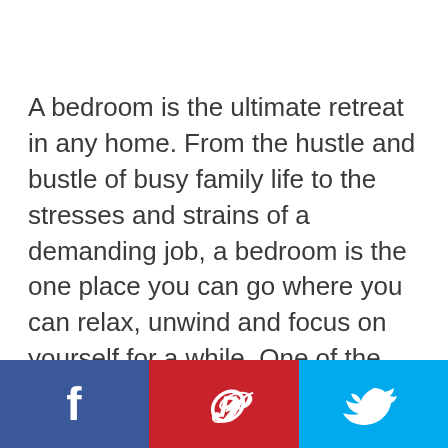A bedroom is the ultimate retreat in any home. From the hustle and bustle of busy family life to the stresses and strains of a demanding job, a bedroom is the one place you can go where you can relax, unwind and focus on yourself for a while. One of the most important keys to staying healthy is getting plenty of sleep! Here are a few things to keep in mind when remodeling your bedroom to
[Figure (infographic): Social media sharing bar with three buttons: Facebook (dark blue, 'f' icon), Pinterest (red, 'P' icon), Twitter (light blue, bird icon)]